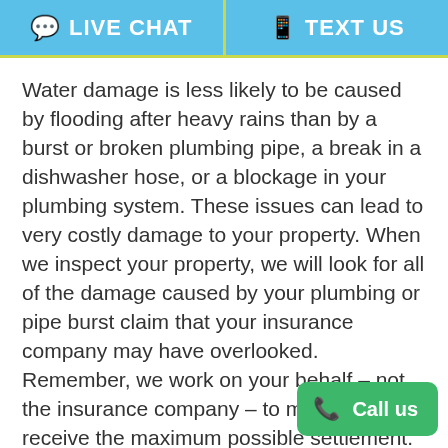LIVE CHAT   TEXT US
Water damage is less likely to be caused by flooding after heavy rains than by a burst or broken plumbing pipe, a break in a dishwasher hose, or a blockage in your plumbing system. These issues can lead to very costly damage to your property. When we inspect your property, we will look for all of the damage caused by your plumbing or pipe burst claim that your insurance company may have overlooked. Remember, we work on your behalf – not the insurance company – to make sure you receive the maximum possible settlement.